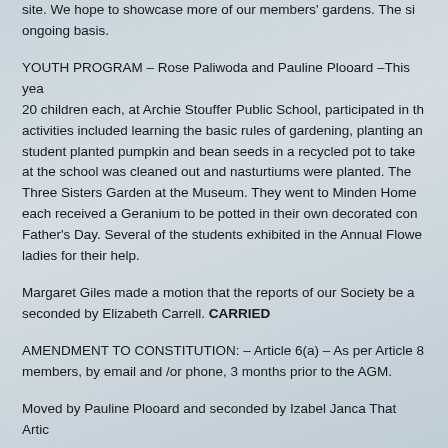site. We hope to showcase more of our members' gardens. The si ongoing basis.
YOUTH PROGRAM – Rose Paliwoda and Pauline Plooard –This yea 20 children each, at Archie Stouffer Public School, participated in th activities included learning the basic rules of gardening, planting an student planted pumpkin and bean seeds in a recycled pot to take at the school was cleaned out and nasturtiums were planted. The Three Sisters Garden at the Museum. They went to Minden Home each received a Geranium to be potted in their own decorated con Father's Day. Several of the students exhibited in the Annual Flowe ladies for their help.
Margaret Giles made a motion that the reports of our Society be a seconded by Elizabeth Carrell. CARRIED
AMENDMENT TO CONSTITUTION: – Article 6(a) – As per Article 8 members, by email and /or phone, 3 months prior to the AGM.
Moved by Pauline Plooard and seconded by Izabel Janca That Artic